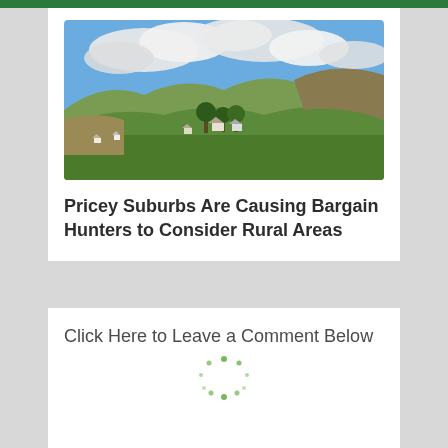[Figure (photo): Aerial/landscape view of a rural area with green fields, scattered white houses, trees, hills and a partly cloudy blue sky.]
Pricey Suburbs Are Causing Bargain Hunters to Consider Rural Areas
Click Here to Leave a Comment Below
[Figure (other): Green loading spinner dots animation]